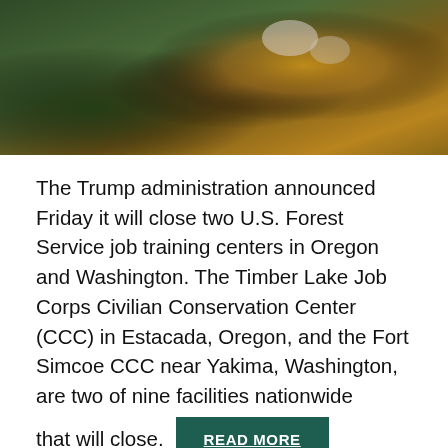[Figure (photo): A person wearing a tan/brown jacket and white gloves examining or touching a large tree stump in a forested area with green foliage in the background.]
The Trump administration announced Friday it will close two U.S. Forest Service job training centers in Oregon and Washington. The Timber Lake Job Corps Civilian Conservation Center (CCC) in Estacada, Oregon, and the Fort Simcoe CCC near Yakima, Washington, are two of nine facilities nationwide that will close.
Federal Officials Seal Deal With Washington Agencies On Forest